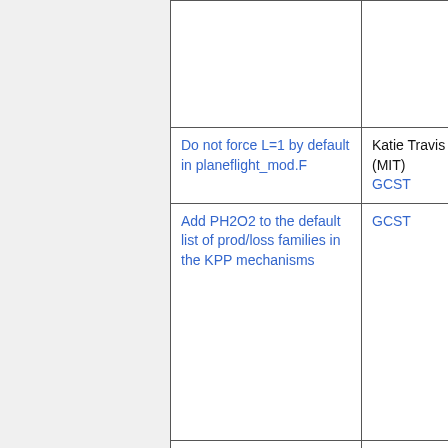| (empty) | (empty) |
| Do not force L=1 by default in planeflight_mod.F | Katie Travis (MIT)
GCST |
| Add PH2O2 to the default list of prod/loss families in the KPP mechanisms | GCST |
| Update to HEMCO v2.1.008, which includes minor updates:
1. Fixed error in | GCST
Christoph Keller
Jenny Fisher |